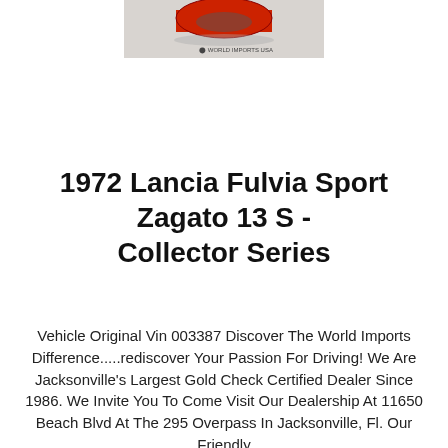[Figure (photo): Partial view of a red sports car from above, with a 'World Imports USA' logo/watermark visible in the lower right area of the image.]
1972 Lancia Fulvia Sport Zagato 13 S - Collector Series
Vehicle Original Vin 003387 Discover The World Imports Difference.....rediscover Your Passion For Driving! We Are Jacksonville's Largest Gold Check Certified Dealer Since 1986. We Invite You To Come Visit Our Dealership At 11650 Beach Blvd At The 295 Overpass In Jacksonville, Fl. Our Friendly